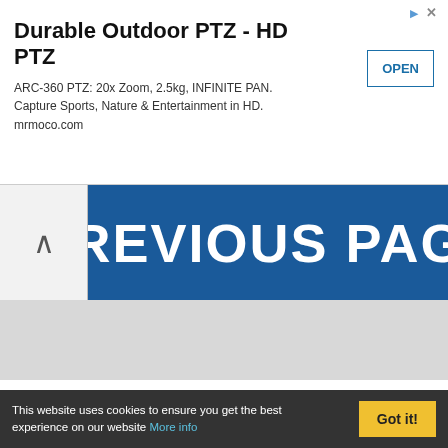[Figure (screenshot): Advertisement banner for Durable Outdoor PTZ - HD PTZ camera with OPEN button]
Durable Outdoor PTZ - HD PTZ
ARC-360 PTZ: 20x Zoom, 2.5kg, INFINITE PAN. Capture Sports, Nature & Entertainment in HD. mrmoco.com
[Figure (screenshot): Previous page navigation banner with up arrow and blue PREVIOUS PAGE label]
PREVIOUS PAGE
Pentax SMC DA 21mm F3.2 AL Limited - Excellent Condition
SMC PENTAX Pentax DA 21mm f/3.2 DA AL Limited Lens [Near Mint] #10011...
This website uses cookies to ensure you get the best experience on our website More info